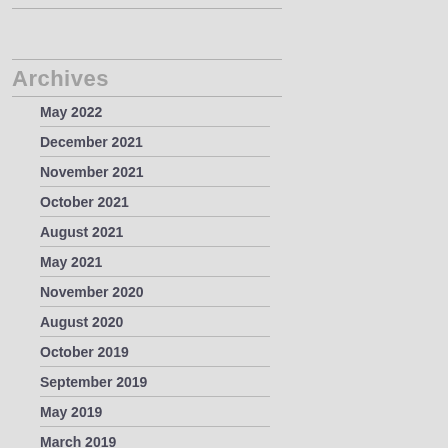Archives
May 2022
December 2021
November 2021
October 2021
August 2021
May 2021
November 2020
August 2020
October 2019
September 2019
May 2019
March 2019
June 2018
October 2017
September 2017